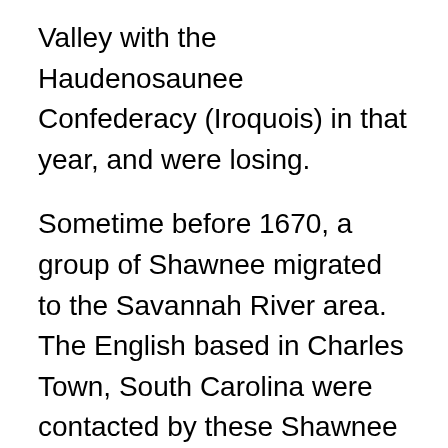Valley with the Haudenosaunee Confederacy (Iroquois) in that year, and were losing.
Sometime before 1670, a group of Shawnee migrated to the Savannah River area. The English based in Charles Town, South Carolina were contacted by these Shawnee in 1674. They forged a long-lasting alliance. The Savannah River Shawnee were known to the Carolina English as "Savannah Indians". Around the same time, other Shawnee groups migrated to Florida, Maryland, Pennsylvania, and other regions south and east of the Ohio country. Pierre Le Moyne d'Iberville, founder of